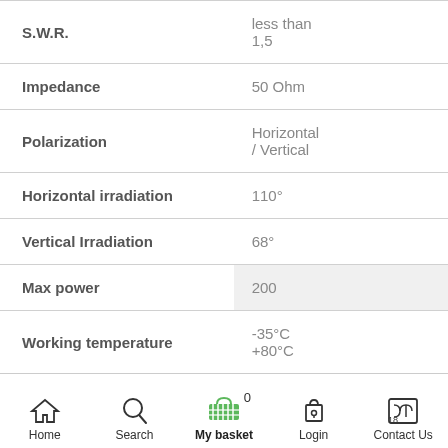| Property | Value |
| --- | --- |
| S.W.R. | less than 1,5 |
| Impedance | 50 Ohm |
| Polarization | Horizontal / Vertical |
| Horizontal irradiation | 110° |
| Vertical Irradiation | 68° |
| Max power | 200 |
| Working temperature | -35°C +80°C |
Home  Search  My basket 0  Login  18  Contact Us